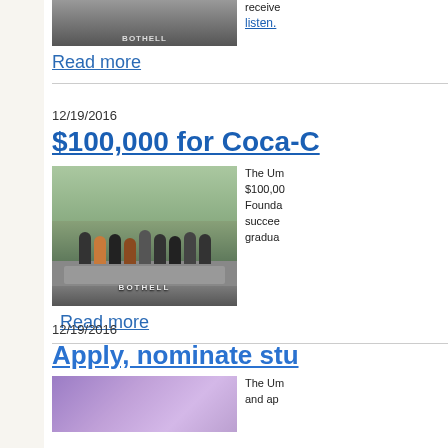receive... listen.
Read more
12/19/2016
$100,000 for Coca-C...
[Figure (photo): Group of students standing in front of UW Bothell sign outdoors]
The Um... $100,00... Founda... succee... gradua...
Read more
12/19/2016
Apply, nominate stu...
[Figure (photo): Purple/abstract background image]
The Um... and ap...